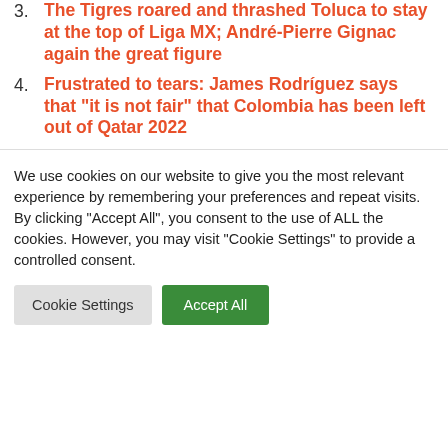3. The Tigres roared and thrashed Toluca to stay at the top of Liga MX; André-Pierre Gignac again the great figure
4. Frustrated to tears: James Rodríguez says that "it is not fair" that Colombia has been left out of Qatar 2022
We use cookies on our website to give you the most relevant experience by remembering your preferences and repeat visits. By clicking "Accept All", you consent to the use of ALL the cookies. However, you may visit "Cookie Settings" to provide a controlled consent.